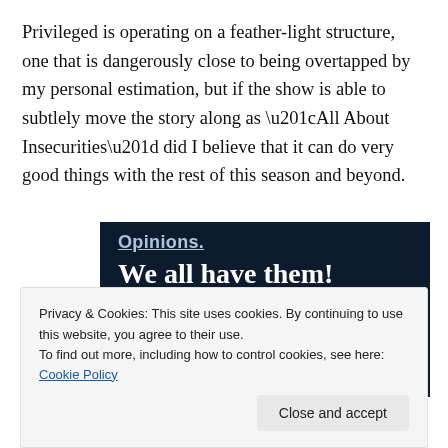Privileged is operating on a feather-light structure, one that is dangerously close to being overtapped by my personal estimation, but if the show is able to subtlely move the story along as “All About Insecurities” did I believe that it can do very good things with the rest of this season and beyond.
[Figure (other): Dark navy banner with text 'Opinions!' at top (partially visible, underlined) and bold white text 'We all have them!' below. A pink bar and a light grey circle are partially visible at the bottom.]
Privacy & Cookies: This site uses cookies. By continuing to use this website, you agree to their use.
To find out more, including how to control cookies, see here: Cookie Policy